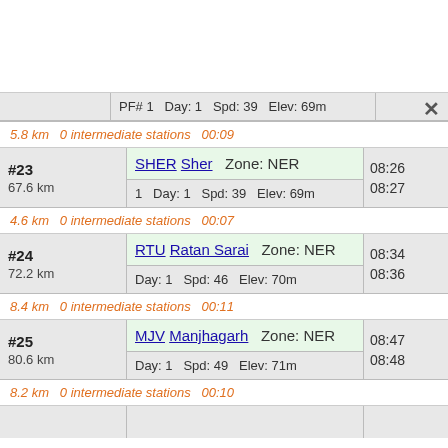| Stop#/Distance | Station Info | Time |
| --- | --- | --- |
|  | PF# 1  Day: 1  Spd: 39  Elev: 69m |  |
| 5.8 km  0 intermediate stations  00:09 |  |  |
| #23
67.6 km | SHER Sher  Zone: NER
1  Day: 1  Spd: 39  Elev: 69m | 08:26
08:27 |
| 4.6 km  0 intermediate stations  00:07 |  |  |
| #24
72.2 km | RTU Ratan Sarai  Zone: NER
Day: 1  Spd: 46  Elev: 70m | 08:34
08:36 |
| 8.4 km  0 intermediate stations  00:11 |  |  |
| #25
80.6 km | MJV Manjhagarh  Zone: NER
Day: 1  Spd: 49  Elev: 71m | 08:47
08:48 |
| 8.2 km  0 intermediate stations  00:10 |  |  |